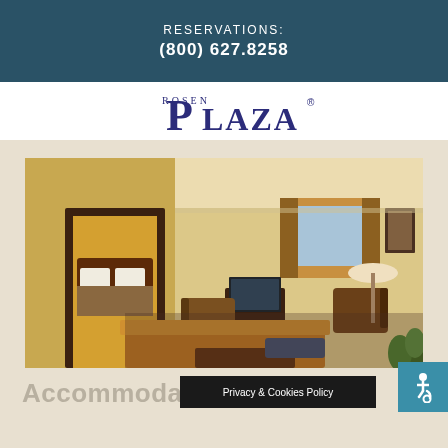RESERVATIONS:
(800) 627.8258
[Figure (logo): Rosen Plaza hotel logo with large decorative P and 'PLAZA' text in navy blue]
[Figure (photo): Interior photo of a Rosen Plaza hotel suite showing a living room area with sofa, armchairs, TV, and a view into a bedroom with a large bed]
Accommoda...
Privacy & Cookies Policy